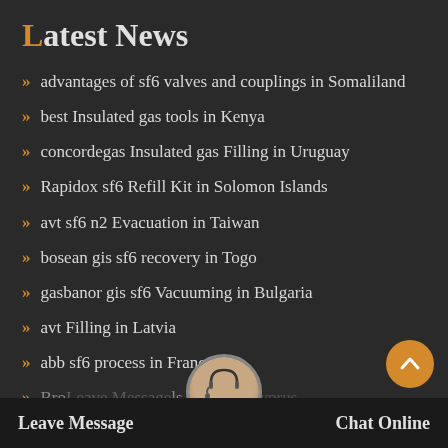Latest News
advantages of sf6 valves and couplings in Somaliland
best Insulated gas tools in Kenya
concordegas Insulated gas Filling in Uruguay
Rapidox sf6 Refill Kit in Solomon Islands
avt sf6 n2 Evacuation in Taiwan
bosean gis sf6 recovery in Togo
gasbanor gis sf6 Vacuuming in Bulgaria
avt Filling in Latvia
abb sf6 process in France
Bro... Leave Message ...ls in Nort... Cyprus
Leave Message    Chat Online